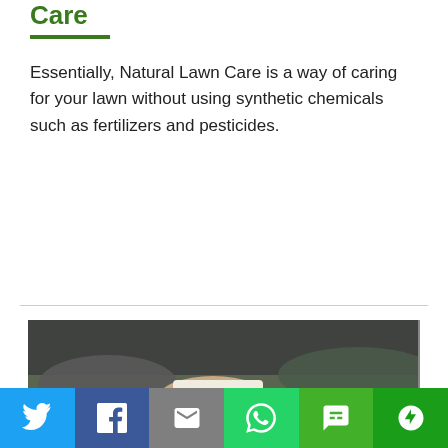Care
Essentially, Natural Lawn Care is a way of caring for your lawn without using synthetic chemicals such as fertilizers and pesticides.
CONTINUE READING
[Figure (photo): Person holding a soil/pH test kit card with colored dots (orange, red, dark blue circles visible), wearing dark clothing, outdoors with blurred ground in background.]
[Figure (infographic): Social share bar with Twitter (blue), Facebook (dark blue), Email (gray), WhatsApp (green), SMS (green), and More (dark green) buttons with icons.]